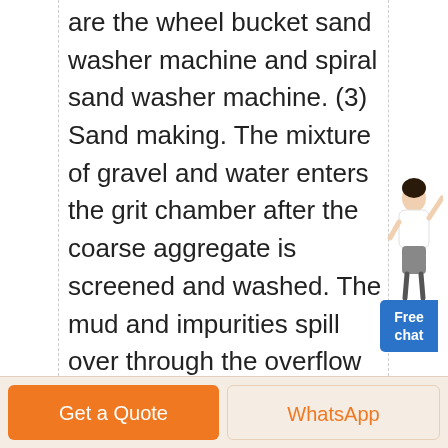are the wheel bucket sand washer machine and spiral sand washer machine. (3) Sand making. The mixture of gravel and water enters the grit chamber after the coarse aggregate is screened and washed. The mud and impurities spill over through the overflow of the grit chamber and the heavier gravel particles sink to the ...
[Figure (illustration): Person (woman in white blouse) with Free chat button]
» الحصول على الأسعار
Get a Quote
WhatsApp